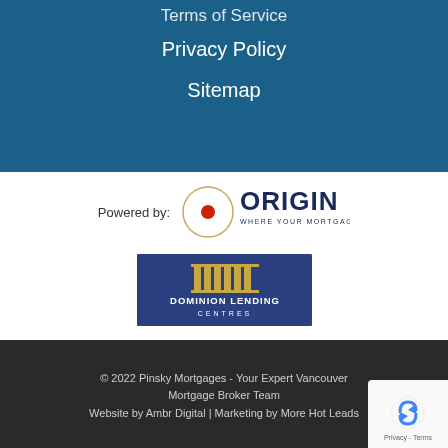Terms of Service
Privacy Policy
Sitemap
[Figure (logo): Powered by: Origin - Where Your Mortgage Begins logo with red dot in circle]
[Figure (logo): Dominion Lending Centres logo with pillars/columns icon]
© 2022 Pinsky Mortgages - Your Expert Vancouver Mortgage Broker Team
Website by Ambr Digital | Marketing by More Hot Leads